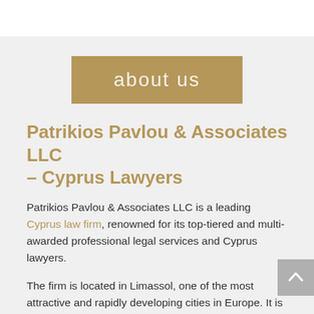about us
Patrikios Pavlou & Associates LLC – Cyprus Lawyers
Patrikios Pavlou & Associates LLC is a leading Cyprus law firm, renowned for its top-tiered and multi-awarded professional legal services and Cyprus lawyers.
The firm is located in Limassol, one of the most attractive and rapidly developing cities in Europe. It is driven by the increasing demand for legal services and